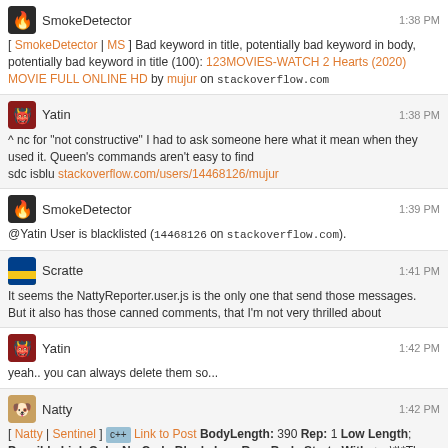SmokeDetector 1:38 PM [ SmokeDetector | MS ] Bad keyword in title, potentially bad keyword in body, potentially bad keyword in title (100): 123MOVIES-WATCH 2 Hearts (2020) MOVIE FULL ONLINE HD by mujur on stackoverflow.com
Yatin 1:38 PM ^ nc for "not constructive" I had to ask someone here what it mean when they used it. Queen's commands aren't easy to find sdc isblu stackoverflow.com/users/14468126/mujur
SmokeDetector 1:39 PM @Yatin User is blacklisted (14468126 on stackoverflow.com).
Scratte 1:41 PM It seems the NattyReporter.user.js is the only one that send those messages. But it also has those canned comments, that I'm not very thrilled about
Yatin 1:42 PM yeah.. you can always delete them so...
Natty 1:42 PM [ Natty | Sentinel ] c++ Link to Post BodyLength: 390 Rep: 1 Low Length; Possible Link Only; No Code Block; Low Rep; Body Starts With: >--\*\*There is the answer it's will work\*\*. 4.0; @Shree @Yatin
Scratte 1:42 PM But then.. what does the Natty_Controls.user.js do?
Yatin 1:43 PM